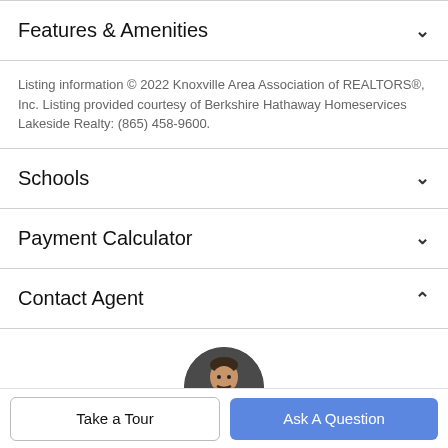Features & Amenities
Listing information © 2022 Knoxville Area Association of REALTORS®, Inc. Listing provided courtesy of Berkshire Hathaway Homeservices Lakeside Realty: (865) 458-9600.
Schools
Payment Calculator
Contact Agent
[Figure (photo): Circular profile photo of a man with beard wearing a suit]
Take a Tour
Ask A Question